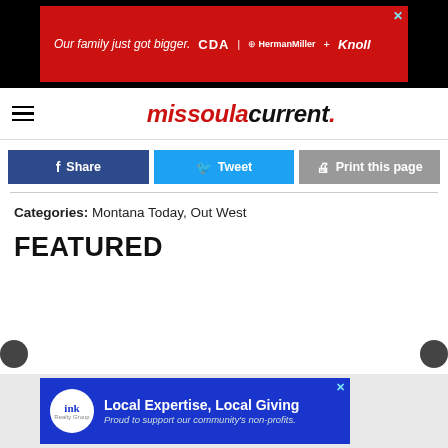[Figure (screenshot): Top advertisement banner: red background with text 'Our family just got bigger.' and logos CDA, HermanMiller, Knoll on black background]
missoulacurrent.
[Figure (screenshot): Social sharing buttons: Share (dark blue), Tweet (light blue), Print this page (gray)]
Categories: Montana Today, Out West
FEATURED
[Figure (screenshot): Bottom advertisement banner: blue background with Ink Realty Group logo, 'Local Expertise, Local Giving' and 'Proud to support our community's non-profits.']